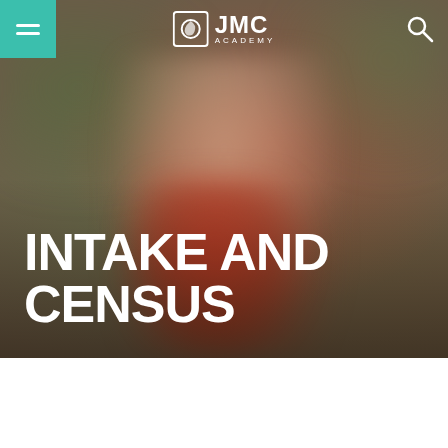[Figure (photo): Blurred background photo of a smiling person wearing a red outfit with long hair, used as hero image behind 'Intake and Census' heading on JMC Academy webpage]
JMC ACADEMY
INTAKE AND CENSUS